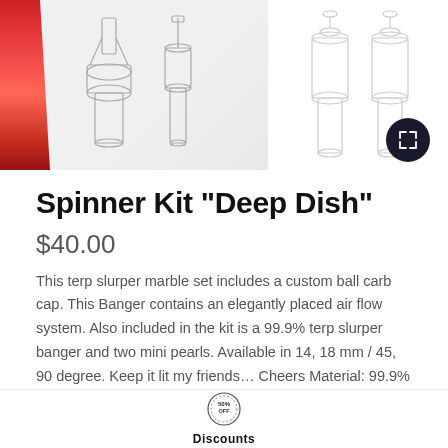[Figure (photo): Product images of Spinner Kit Deep Dish: left panel shows red-striped background with line sketch drawings of the banger components; right panel shows glass banger pieces on white background. Expand icon button overlays bottom right.]
Spinner Kit "Deep Dish"
$40.00
This terp slurper marble set includes a custom ball carb cap. This Banger contains an elegantly placed air flow system. Also included in the kit is a 99.9% terp slurper banger and two mini pearls. Available in 14, 18 mm / 45, 90 degree. Keep it lit my friends... Cheers Material: 99.9% quartz. Brand: aLeaf Read more
[Figure (logo): Discounts badge icon — circular badge with '50% OFF' text]
Discounts